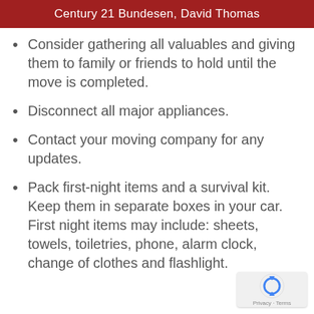Century 21 Bundesen, David Thomas
Consider gathering all valuables and giving them to family or friends to hold until the move is completed.
Disconnect all major appliances.
Contact your moving company for any updates.
Pack first-night items and a survival kit. Keep them in separate boxes in your car. First night items may include: sheets, towels, toiletries, phone, alarm clock, change of clothes and flashlight.
[Figure (logo): reCAPTCHA privacy badge with circular arrow icon and Privacy · Terms text]